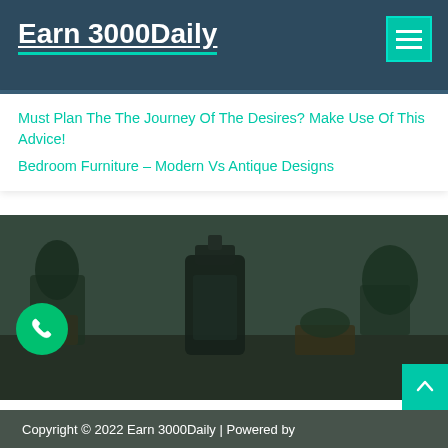Earn 3000Daily
Must Plan The The Journey Of The Desires? Make Use Of This Advice!
Bedroom Furniture – Modern Vs Antique Designs
[Figure (photo): Dark photo of desk/table scene with plants, a lantern/coffee press, and decorative objects against blurred background]
Copyright © 2022 Earn 3000Daily | Powered by